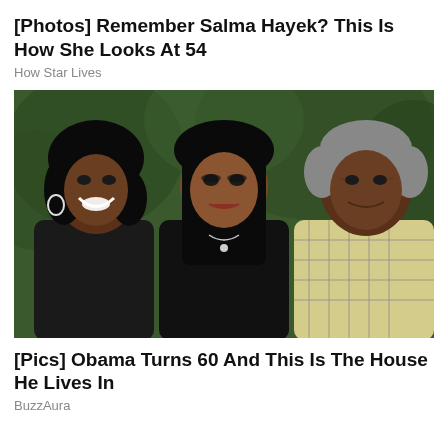[Photos] Remember Salma Hayek? This Is How She Looks At 54
How Star Lives
[Figure (photo): Family portrait photograph of three people — a woman with long dark hair in a black top, a younger woman with long straight dark hair in a black spaghetti-strap top wearing a necklace, and an older man with grey hair in a plaid shirt — posing together outdoors in front of green foliage.]
[Pics] Obama Turns 60 And This Is The House He Lives In
BuzzAura